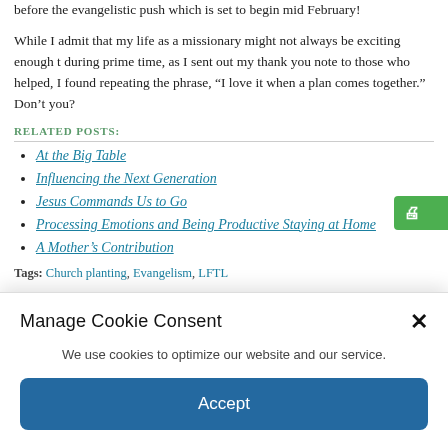before the evangelistic push which is set to begin mid February!
While I admit that my life as a missionary might not always be exciting enough to during prime time, as I sent out my thank you note to those who helped, I found repeating the phrase, “I love it when a plan comes together.” Don’t you?
RELATED POSTS:
At the Big Table
Influencing the Next Generation
Jesus Commands Us to Go
Processing Emotions and Being Productive Staying at Home
A Mother’s Contribution
Tags: Church planting, Evangelism, LFTL
Manage Cookie Consent
We use cookies to optimize our website and our service.
Accept